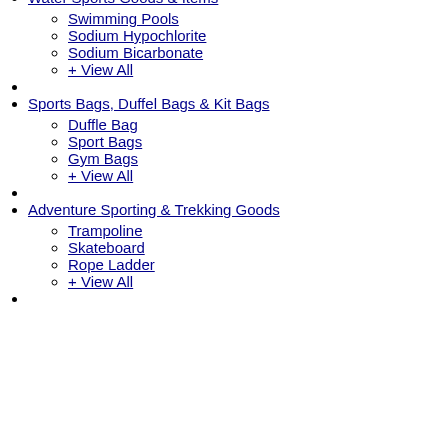Water Sports Goods & Items
Swimming Pools
Sodium Hypochlorite
Sodium Bicarbonate
+ View All
Sports Bags, Duffel Bags & Kit Bags
Duffle Bag
Sport Bags
Gym Bags
+ View All
Adventure Sporting & Trekking Goods
Trampoline
Skateboard
Rope Ladder
+ View All